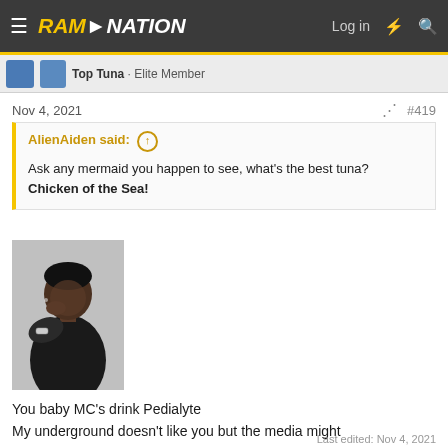RAM NATION — Log in  #  Search
Top Tuna · Elite Member
Nov 4, 2021   #419
AlienAiden said: ↑
Ask any mermaid you happen to see, what's the best tuna?
Chicken of the Sea!
[Figure (photo): Black and white photo of a young man in a dark shirt, hand raised near his face, wearing a watch]
You baby MC's drink Pedialyte
My underground doesn't like you but the media might
Last edited: Nov 4, 2021